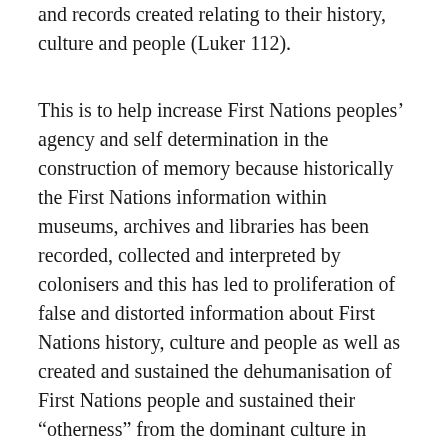and records created relating to their history, culture and people (Luker 112).
This is to help increase First Nations peoples’ agency and self determination in the construction of memory because historically the First Nations information within museums, archives and libraries has been recorded, collected and interpreted by colonisers and this has led to proliferation of false and distorted information about First Nations history, culture and people as well as created and sustained the dehumanisation of First Nations people and sustained their “otherness” from the dominant culture in colonial states (Genovese 34; Smith 39). As result of this, memory institutions such as libraries, archives and museums have developed